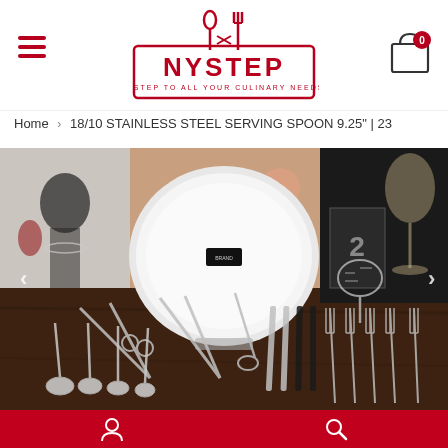NYSTEP - A STEP TO ALL YOUR CULINARY NEEDS
Home > 18/10 STAINLESS STEEL SERVING SPOON 9.25" | 23
[Figure (photo): Product photo showing a wide variety of stainless steel cutlery and kitchen utensils arranged on a dark wooden surface around a white ceramic plate, with decorative background images of food and beverages.]
Navigation icons: user account and search